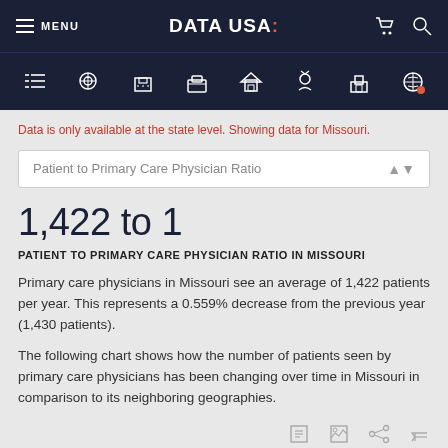MENU  DATA USA:
Data is only available at the state level. Showing data for Missouri.
Patient to Primary Care Physician Ratio
1,422 to 1
PATIENT TO PRIMARY CARE PHYSICIAN RATIO IN MISSOURI
Primary care physicians in Missouri see an average of 1,422 patients per year. This represents a 0.559% decrease from the previous year (1,430 patients).
The following chart shows how the number of patients seen by primary care physicians has been changing over time in Missouri in comparison to its neighboring geographies.